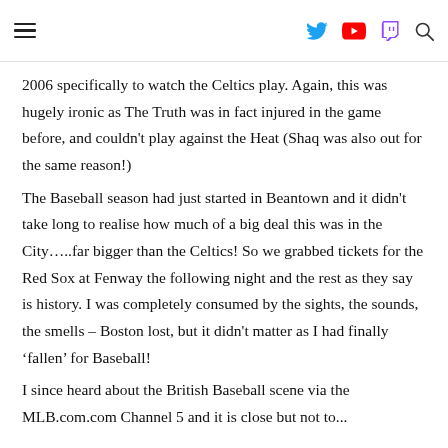[hamburger menu] [Twitter icon] [YouTube icon] [Twitch icon] [Search icon]
2006 specifically to watch the Celtics play. Again, this was hugely ironic as The Truth was in fact injured in the game before, and couldn't play against the Heat (Shaq was also out for the same reason!)
The Baseball season had just started in Beantown and it didn't take long to realise how much of a big deal this was in the City€¦..far bigger than the Celtics! So we grabbed tickets for the Red Sox at Fenway the following night and the rest as they say is history. I was completely consumed by the sights, the sounds, the smells – Boston lost, but it didn't matter as I had finally 'fallen' for Baseball!
I since heard about the British Baseball scene via the MLB.com.com Channel 5 and it is close but not to...